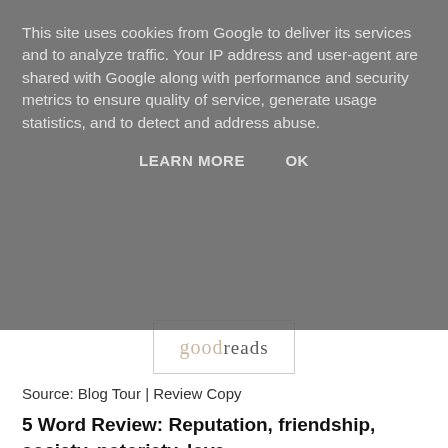This site uses cookies from Google to deliver its services and to analyze traffic. Your IP address and user-agent are shared with Google along with performance and security metrics to ensure quality of service, generate usage statistics, and to detect and address abuse.
LEARN MORE    OK
[Figure (logo): Goodreads logo]
Source: Blog Tour | Review Copy
5 Word Review: Reputation, friendship, society, notoriety, love.
Excuse me, I need more?
Hope is basically my favourite type of protagonist. She had me about howling at the beginning when she was chewing out Lord Harlington.